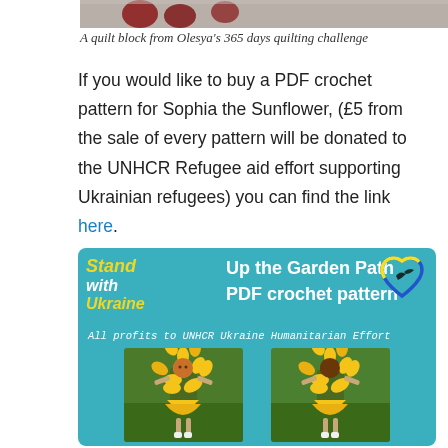[Figure (photo): Top portion of a photo showing quilt block with red/dark objects on a grey background — partially cropped at top]
A quilt block from Olesya's 365 days quilting challenge
If you would like to buy a PDF crochet pattern for Sophia the Sunflower, (£5 from the sale of every pattern will be donated to the UNHCR Refugee aid effort supporting Ukrainian refugees) you can find the link here.
[Figure (infographic): Teal banner image for 'Up the Garden Path PDF crochet pattern' with Stand with Ukraine branding, Ukrainian flag heart logo, text 'All profits to UNHCR Ukraine Humanitarian Effort', and two photos of sunflower crochet dolls on grass]